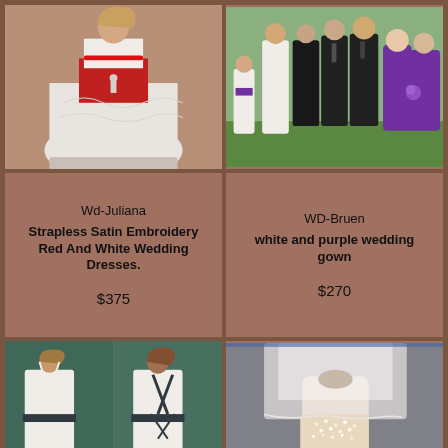[Figure (photo): Strapless white and red satin wedding dress on model]
[Figure (photo): Wedding party group photo with purple bridesmaids dresses and white wedding gown]
Wd-Juliana
Strapless Satin Embroidery Red And White Wedding Dresses.
$375
WD-Bruen
white and purple wedding gown
$270
[Figure (photo): White halter wedding dress with dark beaded back straps, shown front and back]
[Figure (photo): White wedding veil with rhinestone embellished bodice on mannequin]